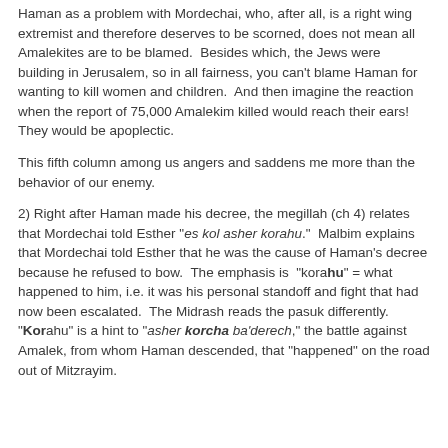Haman as a problem with Mordechai, who, after all, is a right wing extremist and therefore deserves to be scorned, does not mean all Amalekites are to be blamed.  Besides which, the Jews were building in Jerusalem, so in all fairness, you can't blame Haman for wanting to kill women and children.  And then imagine the reaction when the report of 75,000 Amalekim killed would reach their ears!  They would be apoplectic.
This fifth column among us angers and saddens me more than the behavior of our enemy.
2) Right after Haman made his decree, the megillah (ch 4) relates that Mordechai told Esther "es kol asher korahu."  Malbim explains that Mordechai told Esther that he was the cause of Haman's decree because he refused to bow.  The emphasis is "korahu" = what happened to him, i.e. it was his personal standoff and fight that had now been escalated.  The Midrash reads the pasuk differently.  "Korahu" is a hint to "asher korcha ba'derech," the battle against Amalek, from whom Haman descended, that "happened" on the road out of Mitzrayim.